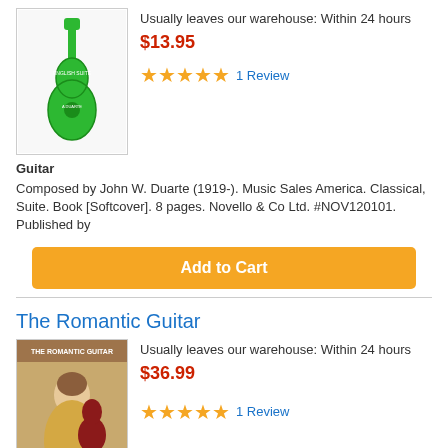[Figure (photo): Book cover with green guitar illustration and text 'English Suite']
Usually leaves our warehouse: Within 24 hours
$13.95
★★★★★ 1 Review
Guitar
Composed by John W. Duarte (1919-). Music Sales America. Classical, Suite. Book [Softcover]. 8 pages. Novello & Co Ltd. #NOV120101. Published by
Add to Cart
The Romantic Guitar
[Figure (photo): Book cover showing a woman playing guitar, romantic painting style, with a CD overlay]
Usually leaves our warehouse: Within 24 hours
$36.99
★★★★★ 1 Review
[Figure (other): Magnify/search icon button]